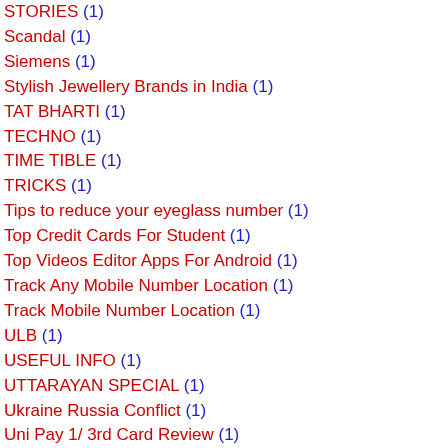STORIES (1)
Scandal (1)
Siemens (1)
Stylish Jewellery Brands in India (1)
TAT BHARTI (1)
TECHNO (1)
TIME TIBLE (1)
TRICKS (1)
Tips to reduce your eyeglass number (1)
Top Credit Cards For Student (1)
Top Videos Editor Apps For Android (1)
Track Any Mobile Number Location (1)
Track Mobile Number Location (1)
ULB (1)
USEFUL INFO (1)
UTTARAYAN SPECIAL (1)
Ukraine Russia Conflict (1)
Uni Pay 1/ 3rd Card Review (1)
Upcoming Electric Cars (1)